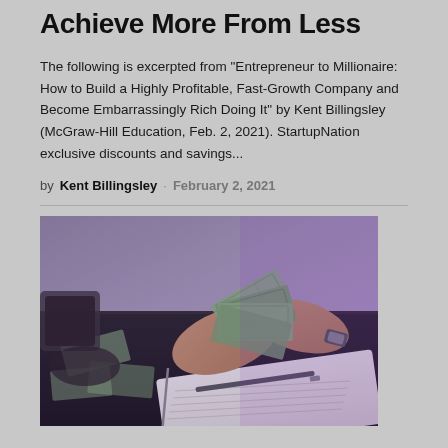Achieve More From Less
The following is excerpted from "Entrepreneur to Millionaire: How to Build a Highly Profitable, Fast-Growth Company and Become Embarrassingly Rich Doing It" by Kent Billingsley (McGraw-Hill Education, Feb. 2, 2021).  StartupNation exclusive discounts and savings...
by Kent Billingsley · February 2, 2021
[Figure (photo): Hands counting dollar bills over a dark desk with a notebook and pen visible below]